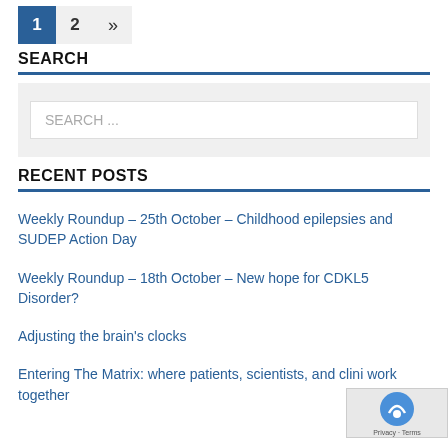1  2  »
SEARCH
[Figure (screenshot): Search input box with placeholder text 'SEARCH ...' on a light grey background]
RECENT POSTS
Weekly Roundup – 25th October – Childhood epilepsies and SUDEP Action Day
Weekly Roundup – 18th October – New hope for CDKL5 Disorder?
Adjusting the brain's clocks
Entering The Matrix: where patients, scientists, and clini work together